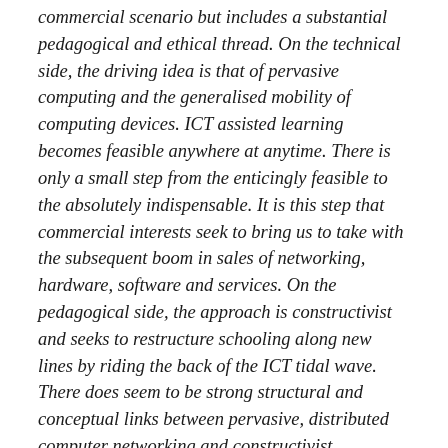commercial scenario but includes a substantial pedagogical and ethical thread. On the technical side, the driving idea is that of pervasive computing and the generalised mobility of computing devices. ICT assisted learning becomes feasible anywhere at anytime. There is only a small step from the enticingly feasible to the absolutely indispensable. It is this step that commercial interests seek to bring us to take with the subsequent boom in sales of networking, hardware, software and services. On the pedagogical side, the approach is constructivist and seeks to restructure schooling along new lines by riding the back of the ICT tidal wave. There does seem to be strong structural and conceptual links between pervasive, distributed computer networking and constructivist pedagogy.
The following article seeks to take a different perspective on “ambient” learning, in which the word